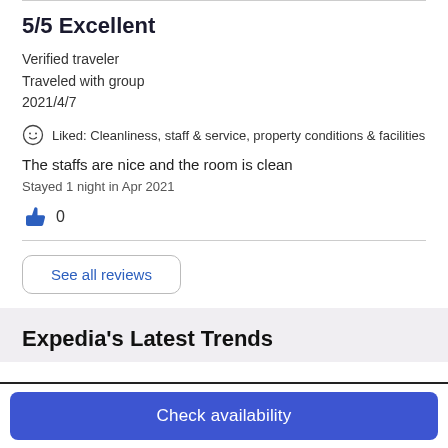5/5 Excellent
Verified traveler
Traveled with group
2021/4/7
Liked: Cleanliness, staff & service, property conditions & facilities
The staffs are nice and the room is clean
Stayed 1 night in Apr 2021
0
See all reviews
Expedia's Latest Trends
Check availability